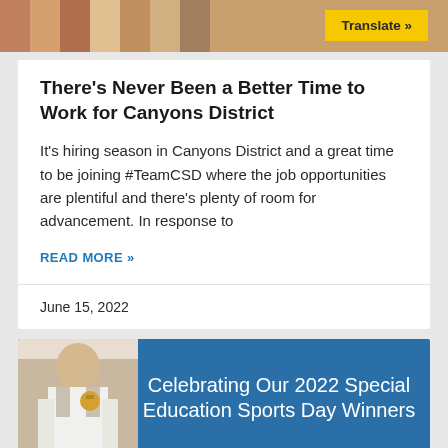[Figure (photo): Group photo of people at top of page with colorful items]
Translate »
There's Never Been a Better Time to Work for Canyons District
It's hiring season in Canyons District and a great time to be joining #TeamCSD where the job opportunities are plentiful and there's plenty of room for advancement. In response to
READ MORE »
June 15, 2022
[Figure (photo): Banner image showing person with trophy on left, blue background with text 'Celebrating Our 2022 Special Education Sports Day Winners' on right]